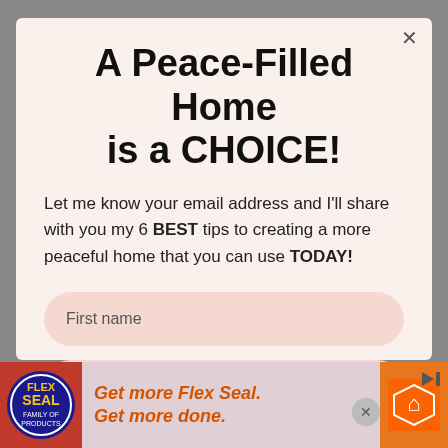A Peace-Filled Home is a CHOICE!
Let me know your email address and I'll share with you my 6 BEST tips to creating a more peaceful home that you can use TODAY!
First name
Email address
[Figure (infographic): Advertisement banner for Flex Seal / Home Depot: 'Get more Flex Seal. Get more done.' with Flex Seal logo and Home Depot logo.]